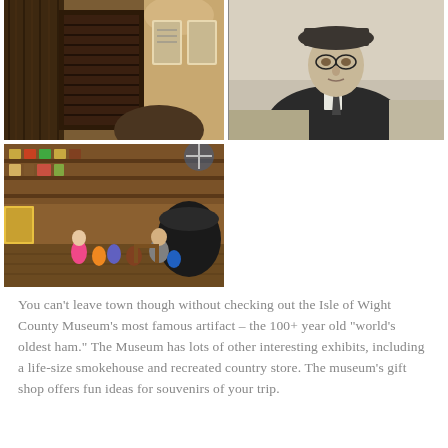[Figure (photo): Interior of a recreated smokehouse exhibit with wooden walls and dark door, and a museum interior with arched ceilings visible]
[Figure (photo): Black and white portrait photograph of an older man in a suit, hat, and glasses, standing outdoors]
[Figure (photo): Color photograph of families with children sitting in a recreated country store exhibit with wooden shelves and a large pot]
You can't leave town though without checking out the Isle of Wight County Museum's most famous artifact – the 100+ year old "world's oldest ham." The Museum has lots of other interesting exhibits, including a life-size smokehouse and recreated country store. The museum's gift shop offers fun ideas for souvenirs of your trip.